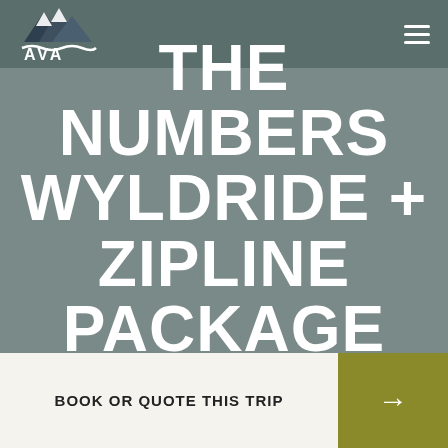[Figure (logo): AVA logo with mountain peaks icon in dark teal/grey colors, white text and wave graphic]
THE NUMBERS WYLDRIDE + ZIPLINE PACKAGE
TRIPS WE OFFER
BOOK OR QUOTE THIS TRIP